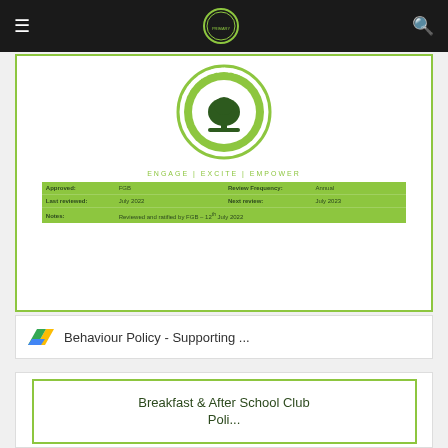Navigation bar with hamburger menu, school logo, and search icon
[Figure (screenshot): Primary school website screenshot showing school logo (green circular badge with tree design, 'PRIMARY SCHOOL' text), tagline 'ENGAGE | EXCITE | EMPOWER', and a green info table with fields: Approved: FGB, Review Frequency: Annual, Last reviewed: July 2022, Next review: July 2023, Notes: Reviewed and ratified by FGB – 12th July 2022]
Behaviour Policy - Supporting ...
Breakfast & After School Club
Poli...